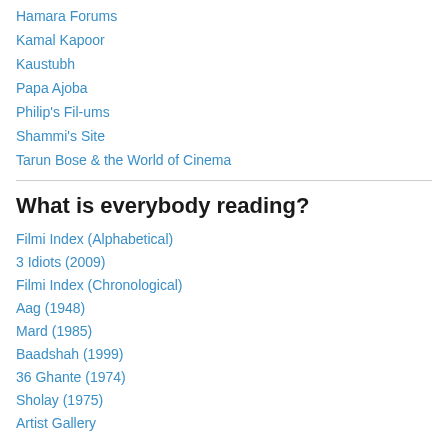Hamara Forums
Kamal Kapoor
Kaustubh
Papa Ajoba
Philip's Fil-ums
Shammi's Site
Tarun Bose & the World of Cinema
What is everybody reading?
Filmi Index (Alphabetical)
3 Idiots (2009)
Filmi Index (Chronological)
Aag (1948)
Mard (1985)
Baadshah (1999)
36 Ghante (1974)
Sholay (1975)
Artist Gallery